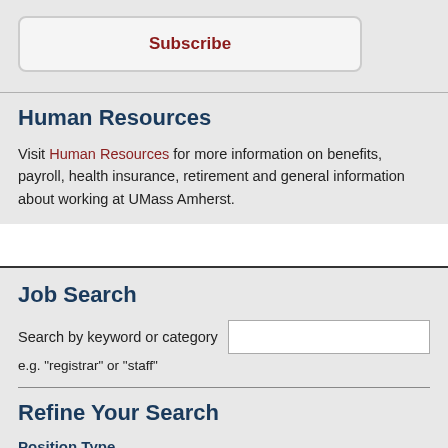Subscribe
Human Resources
Visit Human Resources for more information on benefits, payroll, health insurance, retirement and general information about working at UMass Amherst.
Job Search
Search by keyword or category
e.g. "registrar" or "staff"
Refine Your Search
Position Type